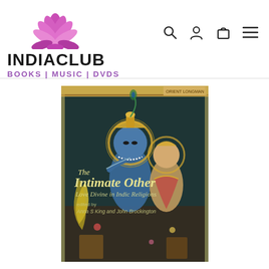[Figure (logo): IndiaClub lotus flower logo with text INDIACLUB BOOKS | MUSIC | DVDS]
[Figure (screenshot): Navigation icons: search magnifying glass, user/account icon, shopping bag/cart icon, hamburger menu icon]
[Figure (photo): Book cover of 'The Intimate Other: Love Divine in Indic Religions' edited by Anna S King and John Brockington, showing a traditional Indian painting of blue-skinned deity (Krishna) with a female figure (Radha), dark teal background with gold decorative border, text in yellow/gold script at top]